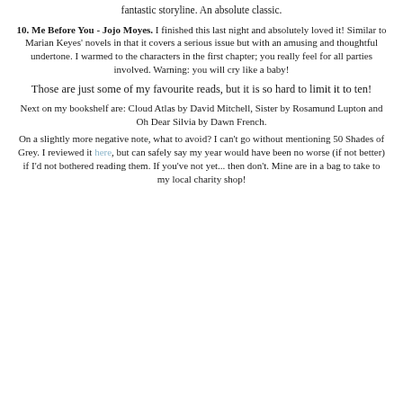fantastic storyline. An absolute classic.
10. Me Before You - Jojo Moyes. I finished this last night and absolutely loved it! Similar to Marian Keyes' novels in that it covers a serious issue but with an amusing and thoughtful undertone. I warmed to the characters in the first chapter; you really feel for all parties involved. Warning: you will cry like a baby!
Those are just some of my favourite reads, but it is so hard to limit it to ten!
Next on my bookshelf are: Cloud Atlas by David Mitchell, Sister by Rosamund Lupton and Oh Dear Silvia by Dawn French.
On a slightly more negative note, what to avoid? I can't go without mentioning 50 Shades of Grey. I reviewed it here, but can safely say my year would have been no worse (if not better) if I'd not bothered reading them. If you've not yet... then don't. Mine are in a bag to take to my local charity shop!